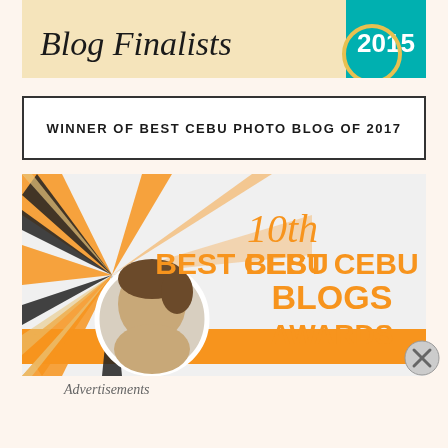[Figure (photo): Top banner showing 'Blog Finalists' text in italic script with a teal badge showing '2015' on the right]
WINNER OF BEST CEBU PHOTO BLOG OF 2017
[Figure (infographic): 10th Best Cebu Blogs Awards banner with orange sunburst rays, orange text, and a circular portrait photo of a person on the left]
Advertisements